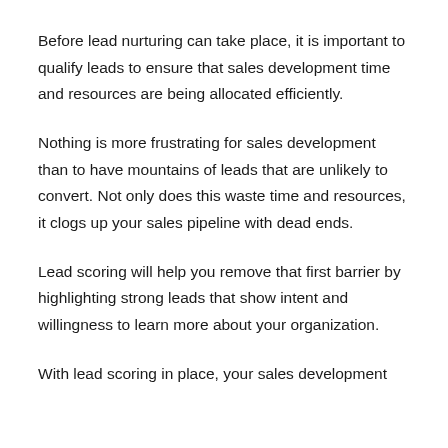Before lead nurturing can take place, it is important to qualify leads to ensure that sales development time and resources are being allocated efficiently.
Nothing is more frustrating for sales development than to have mountains of leads that are unlikely to convert. Not only does this waste time and resources, it clogs up your sales pipeline with dead ends.
Lead scoring will help you remove that first barrier by highlighting strong leads that show intent and willingness to learn more about your organization.
With lead scoring in place, your sales development